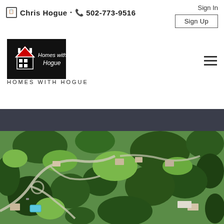Chris Hogue · 502-773-9516
Sign In
Sign Up
[Figure (logo): Homes with Hogue logo: black background with red and white house icon and white text 'Homes with Hogue']
HOMES WITH HOGUE
[Figure (photo): Aerial drone photograph of a suburban/rural neighborhood with green trees, winding roads, large properties with houses, and a swimming pool visible in the lower left area]